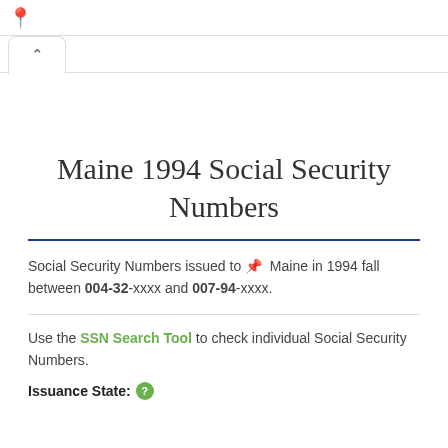Maine 1994 Social Security Numbers
Social Security Numbers issued to Maine in 1994 fall between 004-32-xxxx and 007-94-xxxx.
Use the SSN Search Tool to check individual Social Security Numbers.
Issuance State: